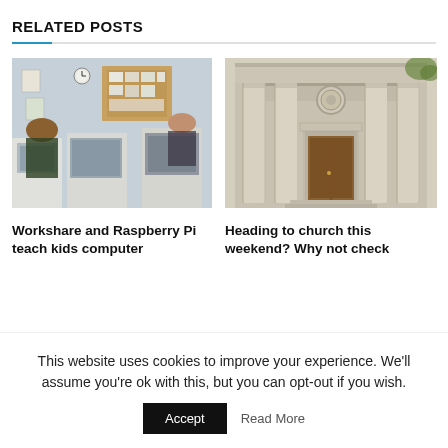RELATED POSTS
[Figure (photo): Classroom scene with students working at computers, bulletin boards on walls]
Workshare and Raspberry Pi teach kids computer
[Figure (photo): Stone church facade with classical columns and ornate doorway]
Heading to church this weekend? Why not check
This website uses cookies to improve your experience. We'll assume you're ok with this, but you can opt-out if you wish.
Accept
Read More